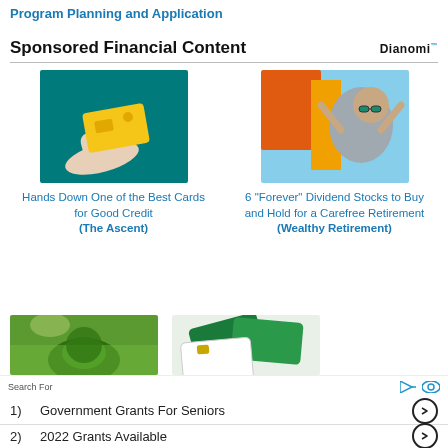Program Planning and Application
Sponsored Financial Content
[Figure (photo): Hand holding a gold credit card against a teal background]
Hands Down One of the Best Cards for Good Credit
(The Ascent)
[Figure (photo): Man relaxing in a chair outdoors with sunglasses]
6 "Forever" Dividend Stocks to Buy and Hold for a Carefree Retirement
(Wealthy Retirement)
[Figure (photo): Green landscape with trees]
[Figure (photo): Green and white credit/debit cards on surface]
Search For
1)   Government Grants For Seniors
2)   2022 Grants Available